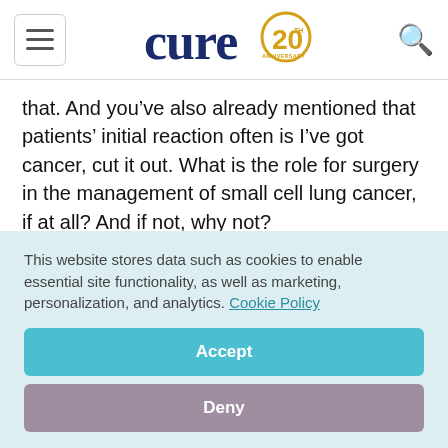cure 20th anniversary logo
that. And you’ve also already mentioned that patients’ initial reaction often is I’ve got cancer, cut it out. What is the role for surgery in the management of small cell lung cancer, if at all? And if not, why not?
Edward Kim, M.D., FACP: Luckily none of the patients who are watching this will ever have to take
This website stores data such as cookies to enable essential site functionality, as well as marketing, personalization, and analytics. Cookie Policy
Accept
Deny